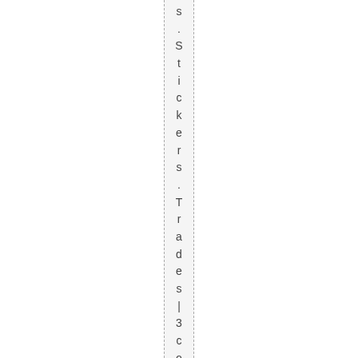s .Stickers .Tradesmen-3commen